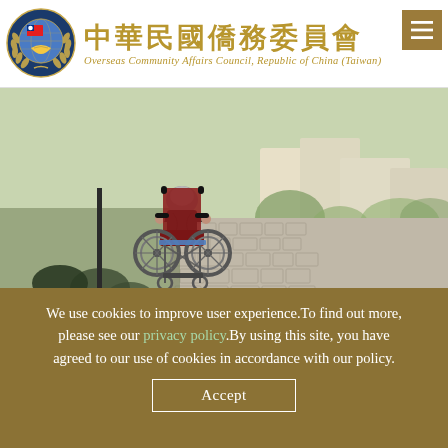[Figure (logo): Circular logo of the Overseas Community Affairs Council, Republic of China (Taiwan), featuring a globe with Taiwan flag, handshake, and laurel wreath in blue and gold.]
中華民國僑務委員會
Overseas Community Affairs Council, Republic of China (Taiwan)
[Figure (photo): An elderly person sitting in a red and black wheelchair viewed from behind, on a cobblestone path outdoors, with green plants and buildings in the background.]
We use cookies to improve user experience.To find out more, please see our privacy policy.By using this site, you have agreed to our use of cookies in accordance with our policy.
Accept